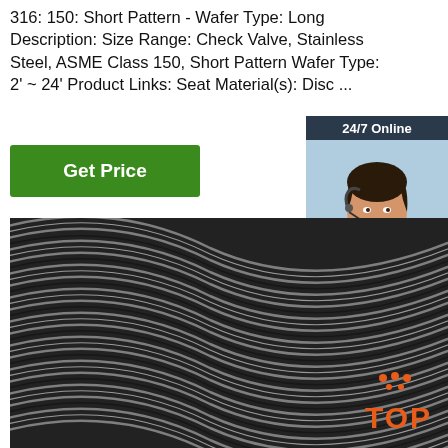316: 150: Short Pattern - Wafer Type: Long Description: Size Range: Check Valve, Stainless Steel, ASME Class 150, Short Pattern Wafer Type: 2' ~ 24' Product Links: Seat Material(s): Disc ...
[Figure (infographic): Green 'Get Price' button]
[Figure (infographic): 24/7 Online chat widget with female agent photo, 'Click here for free chat!' text, and orange QUOTATION button]
[Figure (photo): Close-up photo of coiled stainless steel wire/rod showing parallel curved lines in dark gray and silver tones, with an orange 'TOP' badge in the bottom right corner]